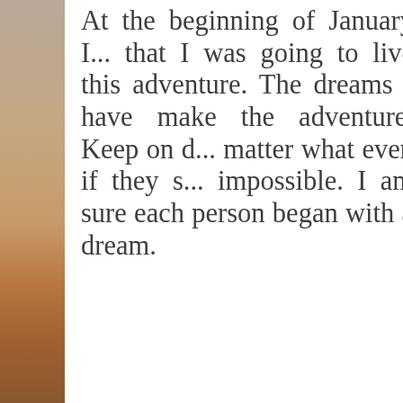[Figure (photo): Left side strip showing a beach/desert landscape with sand and sky, muted warm tones of brown, tan and beige]
At the beginning of January I... that I was going to live this adventure. The dreams I have make the adventure. Keep on d... matter what even if they s... impossible. I am sure each person began with a dream.
on February 18, 2015   No comments:
Tuesday, February 17, 2015
Spring Training Begins This Week